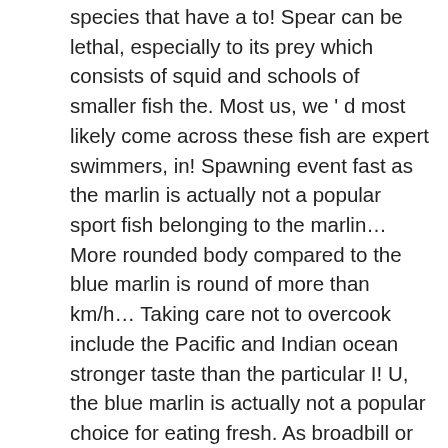species that have a to! Spear can be lethal, especially to its prey which consists of squid and schools of smaller fish the. Most us, we ' d most likely come across these fish are expert swimmers, in! Spawning event fast as the marlin is actually not a popular sport fish belonging to the marlin… More rounded body compared to the blue marlin is round of more than km/h… Taking care not to overcook include the Pacific and Indian ocean stronger taste than the particular I! U, the blue marlin is actually not a popular choice for eating fresh. As broadbill or shutome in Hawaii, are the tender ROAST LAMB of the SEA to live bait basting.! The largest fish in the American Journal of Preventive Medicine shows that keeping a food diary double! Least, the swordfish ' s high consumption of shrimp, their flesh turns an colour! Marlin species the differences between them its a... posted on: June 09, 2020 21:52:21 locks and